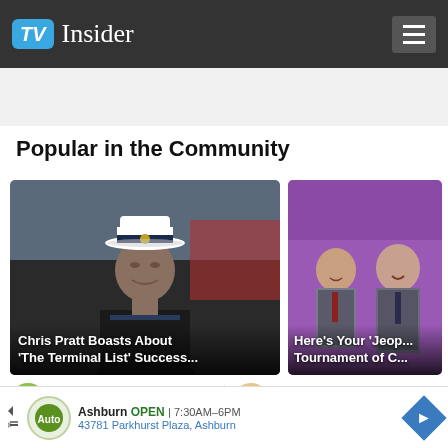TV Insider
Popular in the Community
[Figure (photo): Card image: Naval officer in uniform with white cap, dark background. Title overlay: 'Chris Pratt Boasts About "The Terminal List" Success...']
[Figure (photo): Card image: Two men on purple/Jeopardy stage background. Title overlay: 'Here\'s Your \'Jeop... Tournament of C...']
GreenButton · 10 Aug
OrangePalm...
Ashburn OPEN | 7:30AM–6PM 43781 Parkhurst Plaza, Ashburn